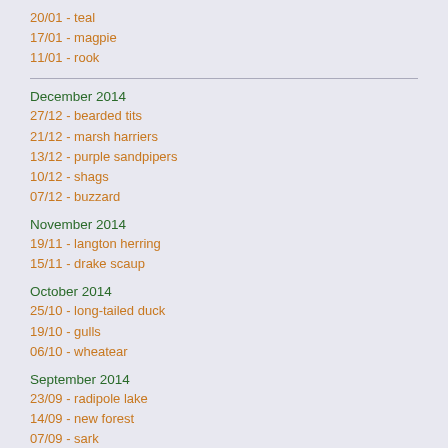20/01 - teal
17/01 - magpie
11/01 - rook
December 2014
27/12 - bearded tits
21/12 - marsh harriers
13/12 - purple sandpipers
10/12 - shags
07/12 - buzzard
November 2014
19/11 - langton herring
15/11 - drake scaup
October 2014
25/10 - long-tailed duck
19/10 - gulls
06/10 - wheatear
September 2014
23/09 - radipole lake
14/09 - new forest
07/09 - sark
August 2014
28/08 - british wildlife centre
12/08 - brown argus
11/08 - migrant hawker
04/08 - hoverfly and bee